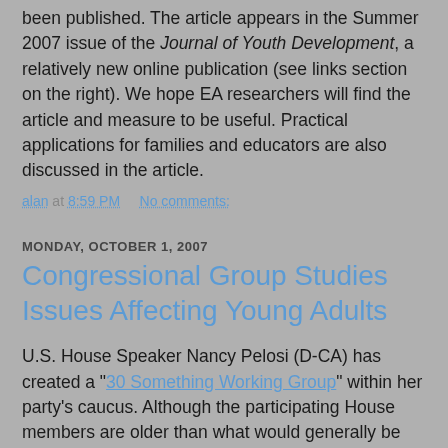been published. The article appears in the Summer 2007 issue of the Journal of Youth Development, a relatively new online publication (see links section on the right). We hope EA researchers will find the article and measure to be useful. Practical applications for families and educators are also discussed in the article.
alan at 8:59 PM   No comments:
MONDAY, OCTOBER 1, 2007
Congressional Group Studies Issues Affecting Young Adults
U.S. House Speaker Nancy Pelosi (D-CA) has created a "30 Something Working Group" within her party's caucus. Although the participating House members are older than what would generally be considered the Emerging Adulthood range, the working group appears to be focusing its agenda toward young adults pretty broadly (also, one must be at least 25 years old to run for the U.S. House of Representatives, individual in the traditional EA age of